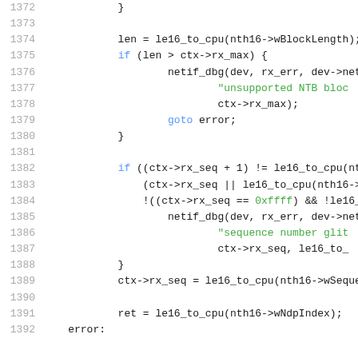[Figure (screenshot): Source code snippet showing lines 1372-1392 of a C file with syntax highlighting. Line numbers in gray on the left, code in dark/blue/green colors.]